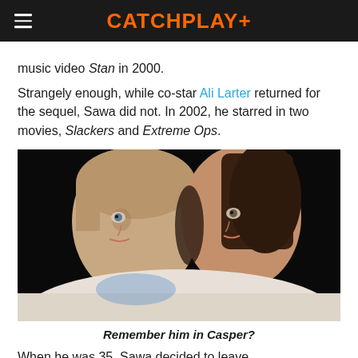CATCHPLAY+
music video Stan in 2000.
Strangely enough, while co-star Ali Larter returned for the sequel, Sawa did not. In 2002, he starred in two movies, Slackers and Extreme Ops.
[Figure (photo): Two young people pressing their heads together in a scene from the movie Casper — a boy with light brown hair and a girl with dark hair, both wearing period costume.]
Remember him in Casper?
When he was 35, Sawa decided to leave...